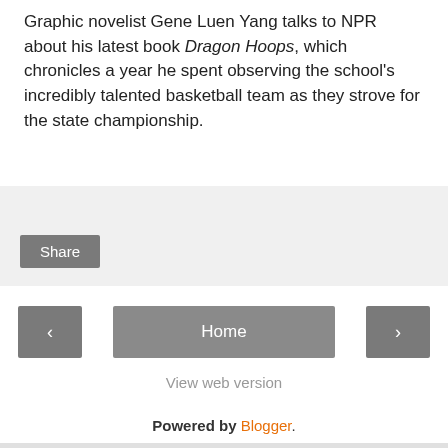Graphic novelist Gene Luen Yang talks to NPR about his latest book Dragon Hoops, which chronicles a year he spent observing the school's incredibly talented basketball team as they strove for the state championship.
Share
‹  Home  ›
View web version
Powered by Blogger.